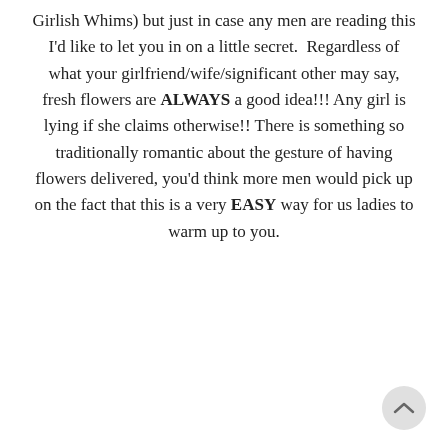Girlish Whims) but just in case any men are reading this I'd like to let you in on a little secret.  Regardless of what your girlfriend/wife/significant other may say, fresh flowers are ALWAYS a good idea!!! Any girl is lying if she claims otherwise!! There is something so traditionally romantic about the gesture of having flowers delivered, you'd think more men would pick up on the fact that this is a very EASY way for us ladies to warm up to you.